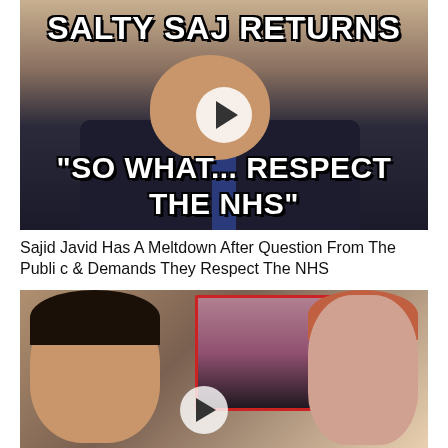[Figure (photo): Meme-style image of a bald man in a dark suit with overlaid text: 'SALTY SAJ RETURNS' at top and '"SO WHAT... RESPECT THE NHS"' at bottom, with a play button overlay indicating a video.]
Sajid Javid Has A Meltdown After Question From The Public & Demands They Respect The NHS
[Figure (photo): Collage image showing a man's face on the left, an inset photo of a red-haired woman in a red border in the center-top, and a woman on the right holding a phone, with a play button overlay.]